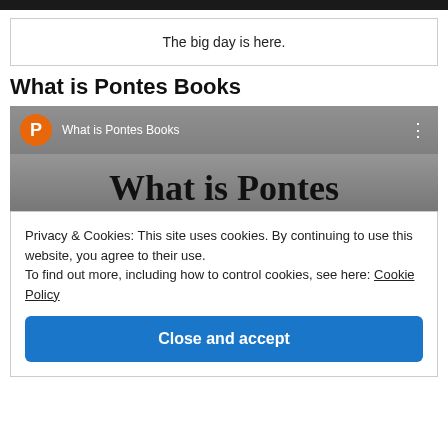The big day is here.
What is Pontes Books
[Figure (screenshot): Screenshot of a podcast/blog page titled 'What is Pontes Books' with an orange circular P logo icon, grey background with bookshelves, and large serif text reading 'What is Pontes']
Privacy & Cookies: This site uses cookies. By continuing to use this website, you agree to their use.
To find out more, including how to control cookies, see here: Cookie Policy
Close and accept